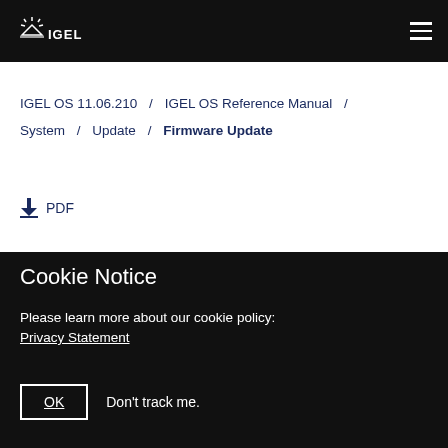IGEL (logo) navigation bar
IGEL OS 11.06.210 / IGEL OS Reference Manual / System / Update / Firmware Update
↓ PDF
Cookie Notice
Please learn more about our cookie policy:
Privacy Statement
OK   Don't track me.